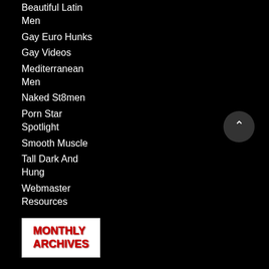Beautiful Latin Men
Gay Euro Hunks
Gay Videos
Mediterranean Men
Naked St8men
Porn Star Spotlight
Smooth Muscle
Tall Dark And Hung
Webmaster Resources
[Figure (other): MONTHLY ARCHIVES button/banner in red bold text on white background]
▼ 2022
August 2022
July 2022
June 2022
May 2022